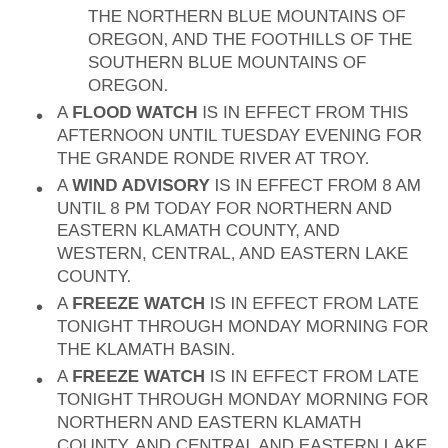THE NORTHERN BLUE MOUNTAINS OF OREGON, AND THE FOOTHILLS OF THE SOUTHERN BLUE MOUNTAINS OF OREGON.
A FLOOD WATCH IS IN EFFECT FROM THIS AFTERNOON UNTIL TUESDAY EVENING FOR THE GRANDE RONDE RIVER AT TROY.
A WIND ADVISORY IS IN EFFECT FROM 8 AM UNTIL 8 PM TODAY FOR NORTHERN AND EASTERN KLAMATH COUNTY, AND WESTERN, CENTRAL, AND EASTERN LAKE COUNTY.
A FREEZE WATCH IS IN EFFECT FROM LATE TONIGHT THROUGH MONDAY MORNING FOR THE KLAMATH BASIN.
A FREEZE WATCH IS IN EFFECT FROM LATE TONIGHT THROUGH MONDAY MORNING FOR NORTHERN AND EASTERN KLAMATH COUNTY, AND CENTRAL AND EASTERN LAKE COUNTY.
A PERMANENT RECREATIONAL HEALTH